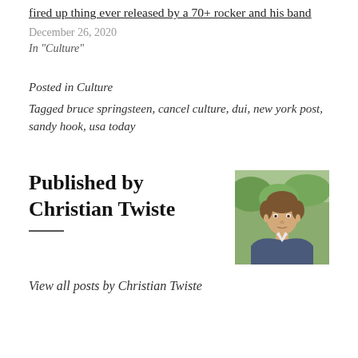fired up thing ever released by a 70+ rocker and his band
December 26, 2020
In "Culture"
Posted in Culture
Tagged bruce springsteen, cancel culture, dui, new york post, sandy hook, usa today
Published by Christian Twiste
[Figure (photo): Headshot of Christian Twiste, a man in a suit jacket outdoors with greenery in background]
View all posts by Christian Twiste